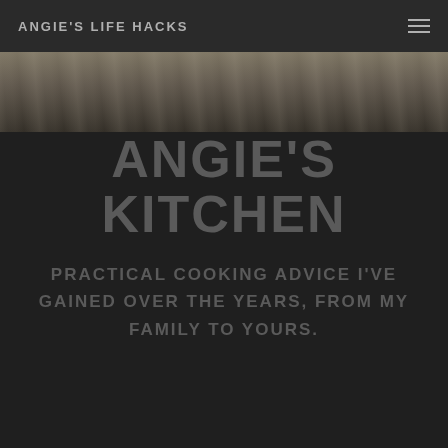ANGIE'S LIFE HACKS
[Figure (photo): Wooden surface / cutting board background image strip]
ANGIE'S KITCHEN
PRACTICAL COOKING ADVICE I'VE GAINED OVER THE YEARS, FROM MY FAMILY TO YOURS.